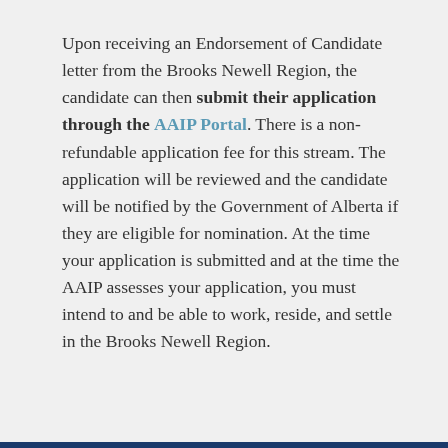Upon receiving an Endorsement of Candidate letter from the Brooks Newell Region, the candidate can then submit their application through the AAIP Portal. There is a non-refundable application fee for this stream. The application will be reviewed and the candidate will be notified by the Government of Alberta if they are eligible for nomination. At the time your application is submitted and at the time the AAIP assesses your application, you must intend to and be able to work, reside, and settle in the Brooks Newell Region.